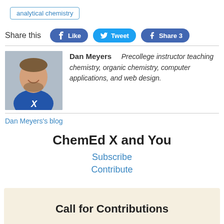analytical chemistry
Share this
[Figure (other): Social share buttons: Like (Facebook), Tweet (Twitter), Share 3 (Facebook)]
[Figure (photo): Photo of Dan Meyers, a man in a blue polo shirt smiling]
Dan Meyers   Precollege instructor teaching chemistry, organic chemistry, computer applications, and web design.
Dan Meyers's blog
ChemEd X and You
Subscribe
Contribute
Call for Contributions